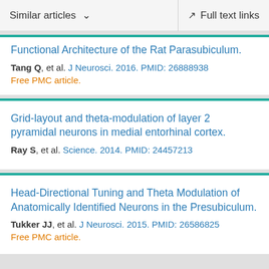Similar articles   ∨   Full text links
Functional Architecture of the Rat Parasubiculum.
Tang Q, et al. J Neurosci. 2016. PMID: 26888938
Free PMC article.
Grid-layout and theta-modulation of layer 2 pyramidal neurons in medial entorhinal cortex.
Ray S, et al. Science. 2014. PMID: 24457213
Head-Directional Tuning and Theta Modulation of Anatomically Identified Neurons in the Presubiculum.
Tukker JJ, et al. J Neurosci. 2015. PMID: 26586825
Free PMC article.